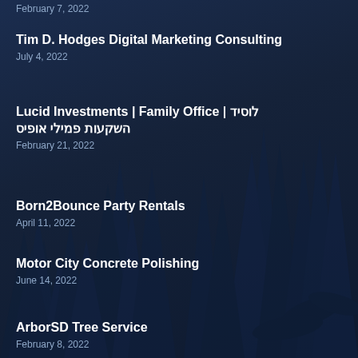February 7, 2022
Tim D. Hodges Digital Marketing Consulting
July 4, 2022
Lucid Investments | Family Office | לוסיד השקעות פמילי אופיס
February 21, 2022
Born2Bounce Party Rentals
April 11, 2022
Motor City Concrete Polishing
June 14, 2022
ArborSD Tree Service
February 8, 2022